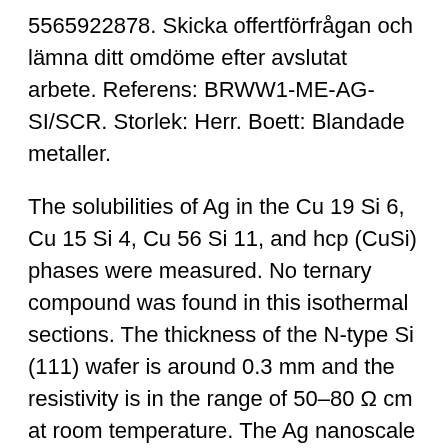5565922878. Skicka offertförfrågan och lämna ditt omdöme efter avslutat arbete. Referens: BRWW1-ME-AG-SI/SCR. Storlek: Herr. Boett: Blandade metaller.
The solubilities of Ag in the Cu 19 Si 6, Cu 15 Si 4, Cu 56 Si 11, and hcp (CuSi) phases were measured. No ternary compound was found in this isothermal sections. The thickness of the N-type Si (111) wafer is around 0.3 mm and the resistivity is in the range of 50–80 Ω cm at room temperature. The Ag nanoscale films were deposited by dc magnetron sputtering ABSTRACT The Schottky barrier heights of both n and p doped Cu/Si (001), Ag/Si (001), and Au/Si (001) diodes were measured using ballistic electron emission microscopy and ballistic hole emission microscopy (BHEM),